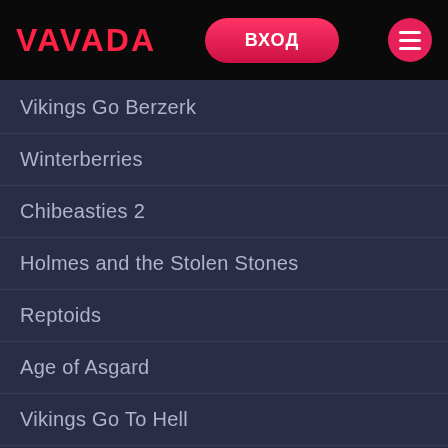VAVADA — ВХОД
Vikings Go Berzerk
Winterberries
Chibeasties 2
Holmes and the Stolen Stones
Reptoids
Age of Asgard
Vikings Go To Hell
Avatars Gateway Guardians
Power Plant
Rainbow Ryan